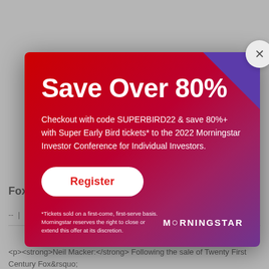Save Over 80%
Checkout with code SUPERBIRD22 & save 80%+ with Super Early Bird tickets* to the 2022 Morningstar Investor Conference for Individual Investors.
Register
*Tickets sold on a first-come, first-serve basis. Morningstar reserves the right to close or extend this offer at its discretion.
Fox C
-- | 26/03/2019
<p><strong>Neil Macker:</strong> Following the sale of Twenty First Century Fox&rsquo; are initiating coverage of Fox Corporation with a narrow moat rating and a $42 per share Corporation, the successor firm to Twenty First Century Fox, consists of the Fox network